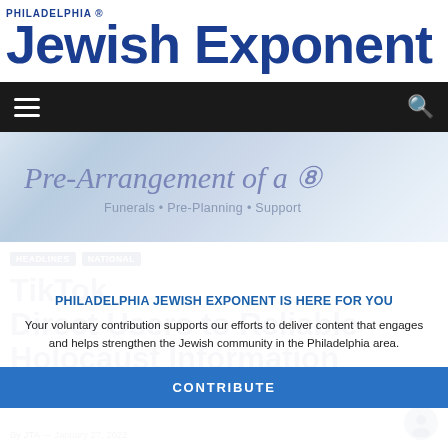PHILADELPHIA Jewish Exponent
[Figure (screenshot): Navigation bar with hamburger menu icon on left and search icon on right, dark background]
[Figure (illustration): Banner advertisement with cursive text 'Pre-Arrangement of a...' and subtitle 'Funerals • Pre-Planning • Support' on light blue gradient background]
PHILADELPHIA JEWISH EXPONENT IS HERE FOR YOU
Your voluntary contribution supports our efforts to deliver content that engages and helps strengthen the Jewish community in the Philadelphia area.
CONTRIBUTE
TikTok Direct Users to Reliable Holocaust Information
By JTA • January 27, 2022